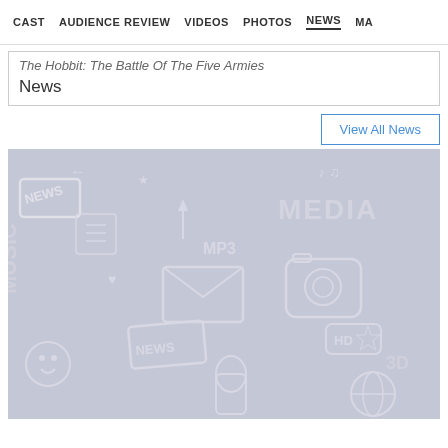CAST  AUDIENCE REVIEW  VIDEOS  PHOTOS  NEWS  MA...
The Hobbit: The Battle Of The Five Armies News
View All News
[Figure (illustration): Media doodle background illustration showing icons for NEWS, MUSIC, MEDIA, MP3, HD, 3D and various media-related symbols in white on a grey/lavender background]